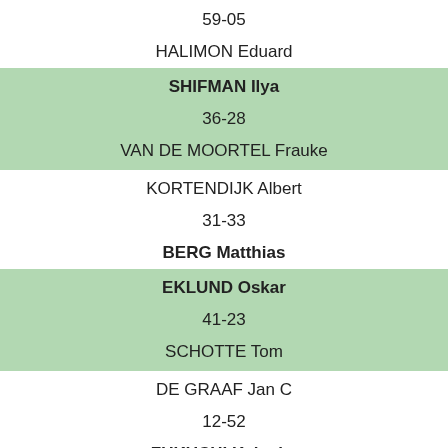59-05
HALIMON Eduard
SHIFMAN Ilya
36-28
VAN DE MOORTEL Frauke
KORTENDIJK Albert
31-33
BERG Matthias
EKLUND Oskar
41-23
SCHOTTE Tom
DE GRAAF Jan C
12-52
FUKUCHI Keisuke